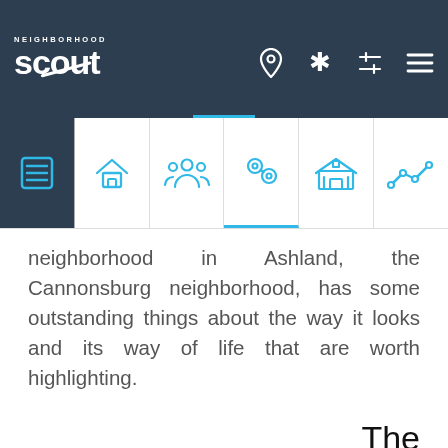Neighborhood Scout — navigation header with logo and icons
[Figure (screenshot): Tab bar with six icons: list/overview (active, dark background), home, people/community, crime pin, school/institution, trend line chart]
neighborhood in Ashland, the Cannonsburg neighborhood, has some outstanding things about the way it looks and its way of life that are worth highlighting.
The